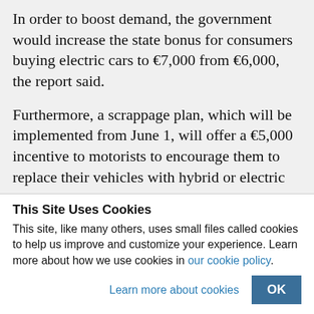In order to boost demand, the government would increase the state bonus for consumers buying electric cars to €7,000 from €6,000, the report said.
Furthermore, a scrappage plan, which will be implemented from June 1, will offer a €5,000 incentive to motorists to encourage them to replace their vehicles with hybrid or electric ones.
This Site Uses Cookies
This site, like many others, uses small files called cookies to help us improve and customize your experience. Learn more about how we use cookies in our cookie policy.
Learn more about cookies
OK